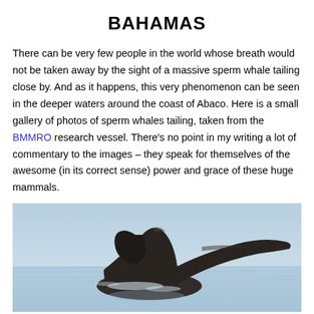BAHAMAS
There can be very few people in the world whose breath would not be taken away by the sight of a massive sperm whale tailing close by. And as it happens, this very phenomenon can be seen in the deeper waters around the coast of Abaco. Here is a small gallery of photos of sperm whales tailing, taken from the BMMRO research vessel. There's no point in my writing a lot of commentary to the images – they speak for themselves of the awesome (in its correct sense) power and grace of these huge mammals.
[Figure (photo): A sperm whale tail (fluke) raised above the ocean surface against a pale blue sky and sea, photographed from a research vessel near Abaco, Bahamas.]